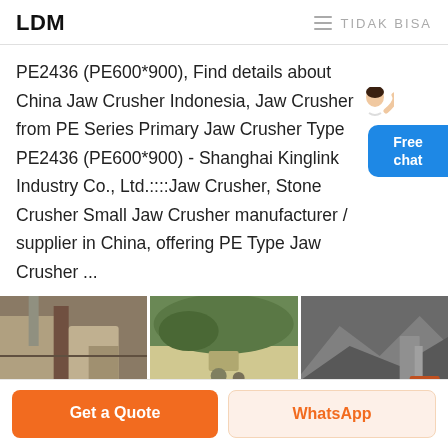LDM   ≡ TIDAK BISA
PE2436 (PE600*900), Find details about China Jaw Crusher Indonesia, Jaw Crusher from PE Series Primary Jaw Crusher Type PE2436 (PE600*900) - Shanghai Kinglink Industry Co., Ltd.::::Jaw Crusher, Stone Crusher Small Jaw Crusher manufacturer / supplier in China, offering PE Type Jaw Crusher ...
[Figure (photo): Three industrial jaw crusher / stone crusher machine photos side by side, each with a yellow 'CN' watermark label in the lower left corner.]
Get a Quote
WhatsApp